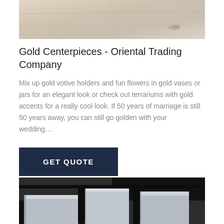[Figure (photo): Top portion of a photo showing a light-colored wooden or stone floor surface with subtle grain lines and reflections.]
Gold Centerpieces - Oriental Trading Company
Mix up gold votive holders and fun flowers in gold vases or jars for an elegant look or check out terrariums with gold accents for a really cool look. If 50 years of marriage is still 50 years away, you can still go golden with your wedding…
GET QUOTE
[Figure (photo): Photo showing metallic silver/aluminum rectangular blocks or platforms arranged on a dark checkered surface, resembling a display or industrial setting.]